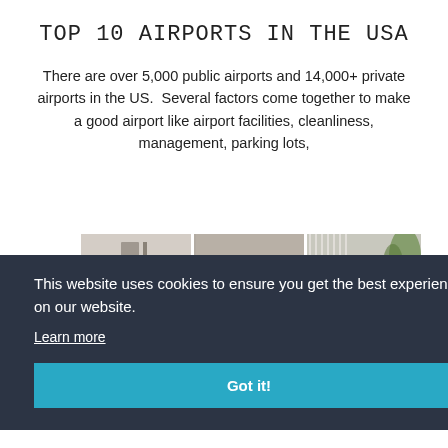TOP 10 AIRPORTS IN THE USA
There are over 5,000 public airports and 14,000+ private airports in the US.  Several factors come together to make a good airport like airport facilities, cleanliness, management, parking lots,
[Figure (photo): Interior photo strip showing airport terminal or modern building interior with panels of beige/grey walls and large windows with natural light and a green plant visible on the right]
This website uses cookies to ensure you get the best experience on our website.
Learn more
Got it!